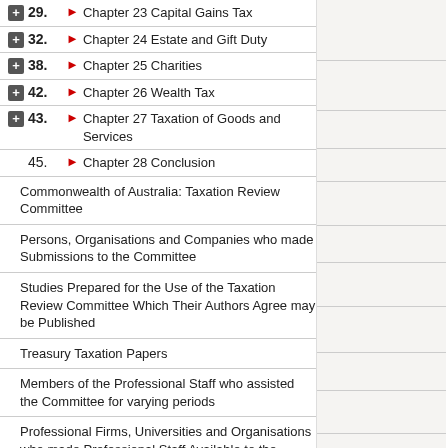29. Chapter 23 Capital Gains Tax
32. Chapter 24 Estate and Gift Duty
38. Chapter 25 Charities
42. Chapter 26 Wealth Tax
43. Chapter 27 Taxation of Goods and Services
45. Chapter 28 Conclusion
Commonwealth of Australia: Taxation Review Committee
Persons, Organisations and Companies who made Submissions to the Committee
Studies Prepared for the Use of the Taxation Review Committee Which Their Authors Agree may be Published
Treasury Taxation Papers
Members of the Professional Staff who assisted the Committee for varying periods
Professional Firms, Universities and Organisations who made Professional Staff Available to the Committee
Members of the General Services Staff
Important Statutory Alterations to the Taxation Legislation Since the Taxation Review Committee